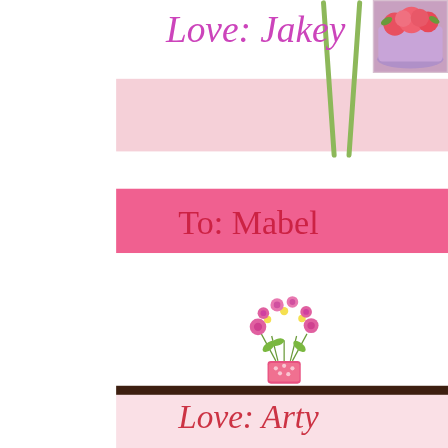Love: Jakey
[Figure (photo): Flower arrangement in purple/lavender bowl, partially visible at top right]
To: Mabel
[Figure (photo): Bouquet of white daisies and pink flowers in a pink polka-dot vase]
Love: Arty